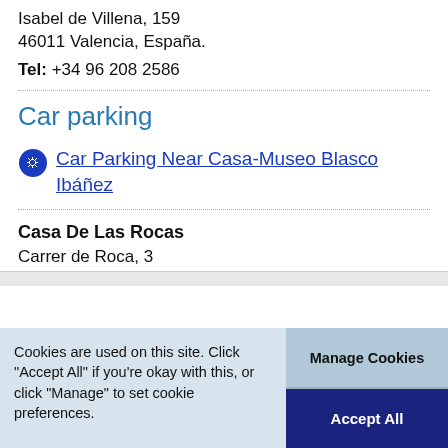Isabel de Villena, 159
46011 Valencia, España.
Tel: +34 96 208 2586
Car parking
Car Parking Near Casa-Museo Blasco Ibáñez
Casa De Las Rocas
Carrer de Roca, 3
Cookies are used on this site. Click "Accept All" if you're okay with this, or click "Manage" to set cookie preferences.